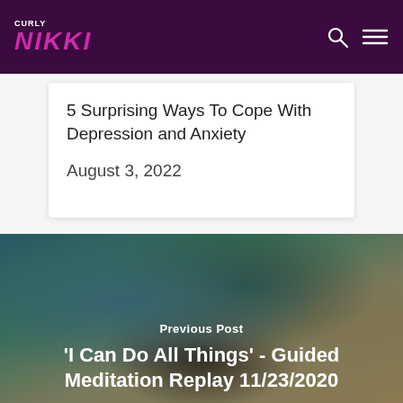Curly Nikki
5 Surprising Ways To Cope With Depression and Anxiety
August 3, 2022
Previous Post
'I Can Do All Things' - Guided Meditation Replay 11/23/2020
[Figure (photo): Woman with natural curly hair in front of a Van Gogh-style floral painting, indoor setting]